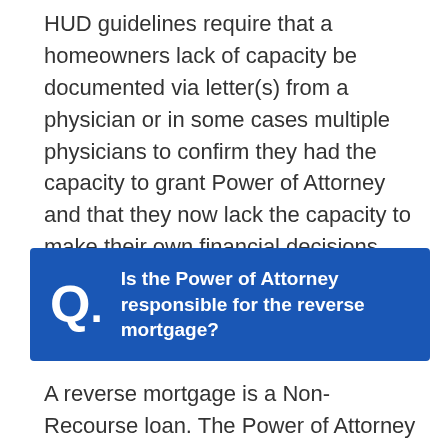HUD guidelines require that a homeowners lack of capacity be documented via letter(s) from a physician or in some cases multiple physicians to confirm they had the capacity to grant Power of Attorney and that they now lack the capacity to make their own financial decisions.
Q. Is the Power of Attorney responsible for the reverse mortgage?
A reverse mortgage is a Non-Recourse loan. The Power of Attorney is not financially responsible for the reverse mortgage loan in